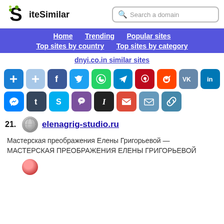SiteSimilar — Search a domain
Home | Trending | Popular sites | Top sites by country | Top sites by category
dnyi.co.in similar sites
[Figure (infographic): Row of social share buttons: Add, Add (light), Facebook, Twitter, WhatsApp, Telegram, Pinterest, Reddit, VK, LinkedIn, Messenger, Tumblr, Skype, Viber, Instapaper, Gmail, Email, Copy Link]
21. elenagrig-studio.ru — Мастерская преображения Елены Григорьевой — МАСТЕРСКАЯ ПРЕОБРАЖЕНИЯ ЕЛЕНЫ ГРИГОРЬЕВОЙ